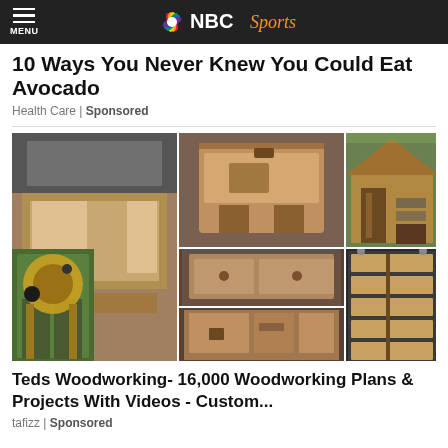MENU | NBC Sports
10 Ways You Never Knew You Could Eat Avocado
Health Care | Sponsored
[Figure (photo): Collage of six woodworking project photos: a wooden bed frame, a wooden coffee table with storage, a wooden shed/firewood storage, a folding wine table on grass, a wooden workbench, and a wooden wall shelf unit.]
Teds Woodworking- 16,000 Woodworking Plans & Projects With Videos - Custom...
tafizz | Sponsored